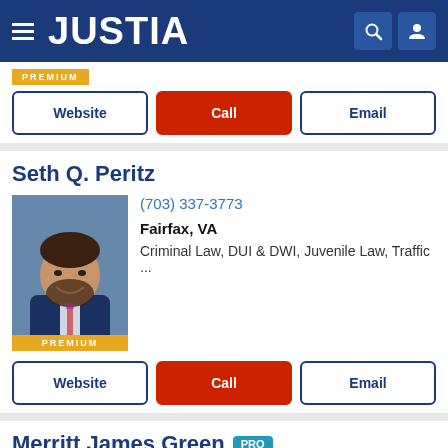JUSTIA
[Figure (screenshot): PREMIUM badge/tag partially visible at top]
Website | Call | Email (buttons)
Seth Q. Peritz
[Figure (photo): Professional headshot of Seth Q. Peritz with PREMIUM badge]
(703) 337-3773
Fairfax, VA
Criminal Law, DUI & DWI, Juvenile Law, Traffic ...
Website | Call | Email (buttons)
Merritt James Green PRO
[Figure (photo): Professional headshot of Merritt James Green]
McLean, VA
(703) 556-0411
Business Law, Employment Law, Divorce, Fami...